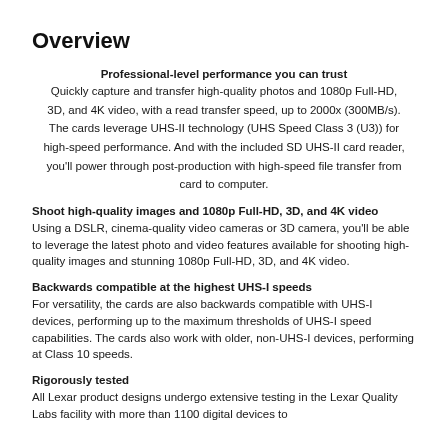Overview
Professional-level performance you can trust
Quickly capture and transfer high-quality photos and 1080p Full-HD, 3D, and 4K video, with a read transfer speed, up to 2000x (300MB/s). The cards leverage UHS-II technology (UHS Speed Class 3 (U3)) for high-speed performance. And with the included SD UHS-II card reader, you'll power through post-production with high-speed file transfer from card to computer.
Shoot high-quality images and 1080p Full-HD, 3D, and 4K video
Using a DSLR, cinema-quality video cameras or 3D camera, you'll be able to leverage the latest photo and video features available for shooting high-quality images and stunning 1080p Full-HD, 3D, and 4K video.
Backwards compatible at the highest UHS-I speeds
For versatility, the cards are also backwards compatible with UHS-I devices, performing up to the maximum thresholds of UHS-I speed capabilities. The cards also work with older, non-UHS-I devices, performing at Class 10 speeds.
Rigorously tested
All Lexar product designs undergo extensive testing in the Lexar Quality Labs facility with more than 1100 digital devices to...